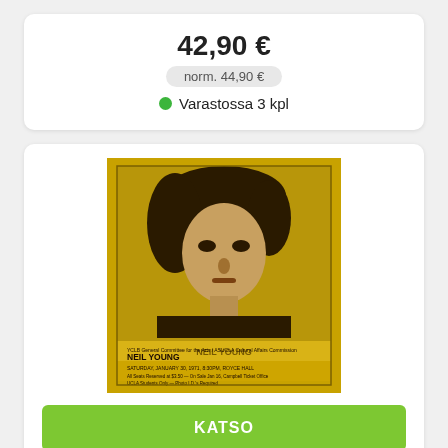42,90 €
norm. 44,90 €
Varastossa 3 kpl
[Figure (photo): Album cover for Neil Young - Royce Hall 1971 LP. Sepia-toned concert poster on yellow/golden background showing a young Neil Young with shaggy dark hair. Text on poster reads: NEIL YOUNG, SATURDAY JANUARY 30, 1971, 8:30PM, ROYCE HALL.]
KATSO
OSTA
YOUNG, NEIL - ROYCE HALL 1971 LP
Recorded on January 30, 1971, this